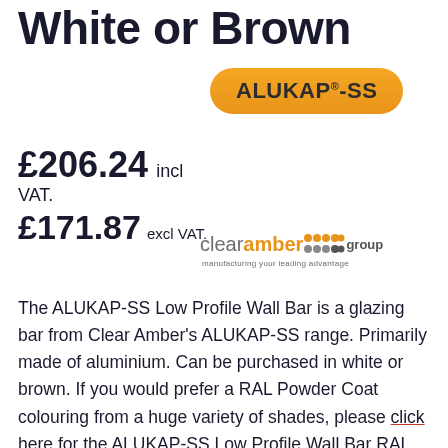White or Brown
[Figure (logo): ALUKAP-SS orange pill-shaped badge logo]
£206.24 incl VAT.
£171.87 excl VAT.
[Figure (logo): Clear Amber Group logo with orange and grey dots and tagline 'manufacturing your leading advantage']
The ALUKAP-SS Low Profile Wall Bar is a glazing bar from Clear Amber's ALUKAP-SS range. Primarily made of aluminium. Can be purchased in white or brown. If you would prefer a RAL Powder Coat colouring from a huge variety of shades, please click here for the ALUKAP-SS Low Profile Wall Bar RAL Powder Coat